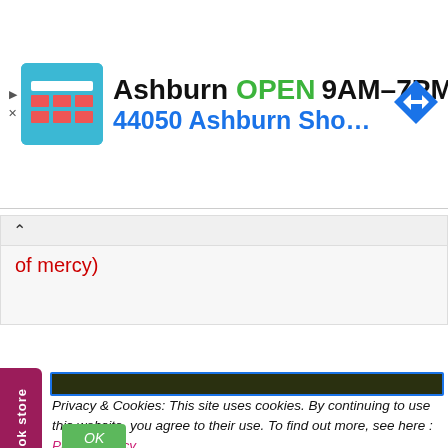[Figure (screenshot): Advertisement banner showing a store icon, 'Ashburn OPEN 9AM-7PM' with address '44050 Ashburn Shopping P...' and a navigation arrow icon]
of mercy)
Book store
[Figure (screenshot): Dark navigation/header bar element]
Privacy & Cookies: This site uses cookies. By continuing to use this website, you agree to their use. To find out more, see here : Privacy Policy
OK